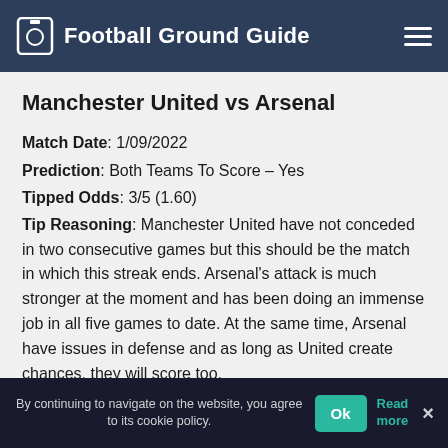Football Ground Guide
Manchester United vs Arsenal
Match Date: 1/09/2022
Prediction: Both Teams To Score – Yes
Tipped Odds: 3/5 (1.60)
Tip Reasoning: Manchester United have not conceded in two consecutive games but this should be the match in which this streak ends. Arsenal's attack is much stronger at the moment and has been doing an immense job in all five games to date. At the same time, Arsenal have issues in defense and as long as United create chances, they will score too.
By continuing to navigate on the website, you agree to its cookie policy. Ok Read more ×